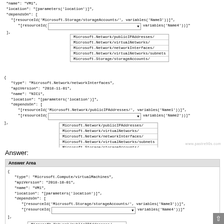Code block showing ARM template JSON with VM resource type Microsoft.Compute/virtualMachines, dropdowns for resourceId selections, and network interface resource block with dropdowns
[Figure (screenshot): Question area showing Azure ARM template JSON code with two dropdown selectors for resourceId. First dropdown shows options: Microsoft.Network/publicIPAddresses/, Microsoft.Network/virtualNetworks/, Microsoft.Network/networkInterfaces/, Microsoft.Network/virtualNetworks/subnets, Microsoft.Storage/storageAccounts/. Second block shows NIC1 resource with another dropdown with same options.]
Answer:
Answer Area
ARM template JSON answer area showing Microsoft.Network/networkInterfaces/ selected in dropdown